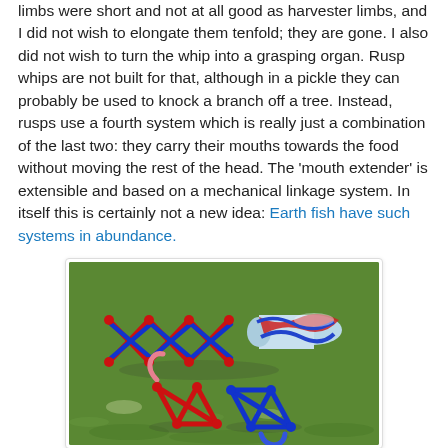limbs were short and not at all good as harvester limbs, and I did not wish to elongate them tenfold; they are gone. I also did not wish to turn the whip into a grasping organ. Rusp whips are not built for that, although in a pickle they can probably be used to knock a branch off a tree. Instead, rusps use a fourth system which is really just a combination of the last two: they carry their mouths towards the food without moving the rest of the head. The 'mouth extender' is extensible and based on a mechanical linkage system. In itself this is certainly not a new idea: Earth fish have such systems in abundance.
[Figure (illustration): 3D rendered image showing a mechanical linkage system on a green grass background. The image shows red and blue interlocking X-shaped linkage structures connected to a cylindrical tube wrapped with red and blue spiraling bands. Below are separate components: a red triangular linkage with a pink curved hook, and a blue X-shaped linkage with a blue curved hook, casting shadows on the grass.]